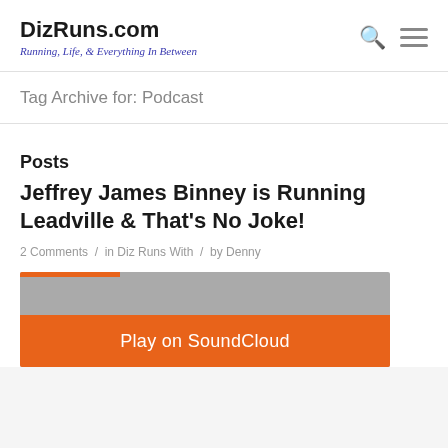DizRuns.com — Running, Life, & Everything In Between
Tag Archive for: Podcast
Posts
Jeffrey James Binney is Running Leadville & That's No Joke!
2 Comments / in Diz Runs With / by Denny
[Figure (screenshot): SoundCloud embedded player widget with orange 'Play on SoundCloud' button]